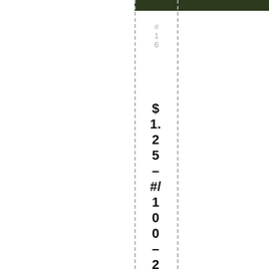[Figure (photo): Dark colored image strip at top right portion of page]
#16
$1.25 – #/100 – 2005 Timeless Treasure